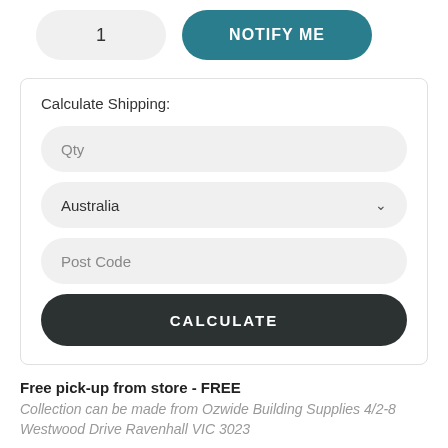[Figure (screenshot): Quantity input field showing '1' with rounded pill shape and grey background, alongside a teal 'NOTIFY ME' button]
Calculate Shipping:
[Figure (screenshot): Qty input field (rounded, grey background)]
[Figure (screenshot): Country dropdown showing 'Australia' with chevron]
[Figure (screenshot): Post Code input field (rounded, grey background)]
[Figure (screenshot): Dark CALCULATE button]
Free pick-up from store - FREE
Collection can be made from Ozwide Building Supplies 4/2-8 Westwood Drive Ravenhall VIC 3023